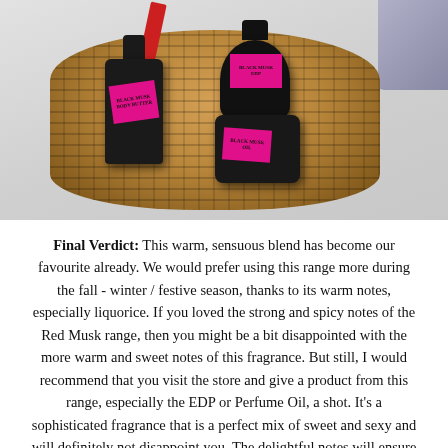[Figure (photo): A wicker basket containing three black perfume/beauty bottles from The Body Shop Black Musk range, each with bright pink/magenta labels. A red ribbon is also visible in the basket. A grey box corner is partially visible in the upper right.]
Final Verdict: This warm, sensuous blend has become our favourite already. We would prefer using this range more during the fall - winter / festive season, thanks to its warm notes, especially liquorice. If you loved the strong and spicy notes of the Red Musk range, then you might be a bit disappointed with the more warm and sweet notes of this fragrance. But still, I would recommend that you visit the store and give a product from this range, especially the EDP or Perfume Oil, a shot. It's a sophisticated fragrance that is a perfect mix of sweet and sexy and will definitely not disappoint you. The delightful notes will ensure that you fall